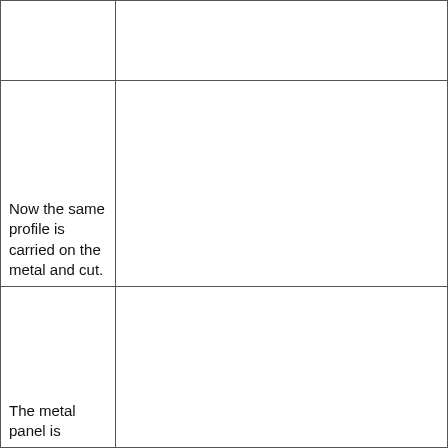|  |  |
| Now the same profile is carried on the metal and cut. |  |
| The metal panel is |  |